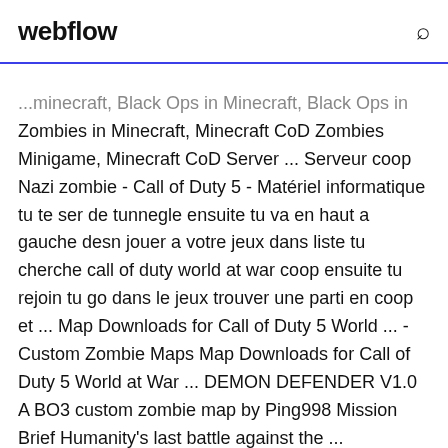webflow
...minecraft, Black Ops in Minecraft, Black Ops in Zombies in Minecraft, Minecraft CoD Zombies Minigame, Minecraft CoD Server ... Serveur coop Nazi zombie - Call of Duty 5 - Matériel informatique tu te ser de tunnegle ensuite tu va en haut a gauche desn jouer a votre jeux dans liste tu cherche call of duty world at war coop ensuite tu rejoin tu go dans le jeux trouver une parti en coop et ... Map Downloads for Call of Duty 5 World ... - Custom Zombie Maps Map Downloads for Call of Duty 5 World at War ... DEMON DEFENDER V1.0 A BO3 custom zombie map by Ping998 Mission Brief Humanity's last battle against the ...